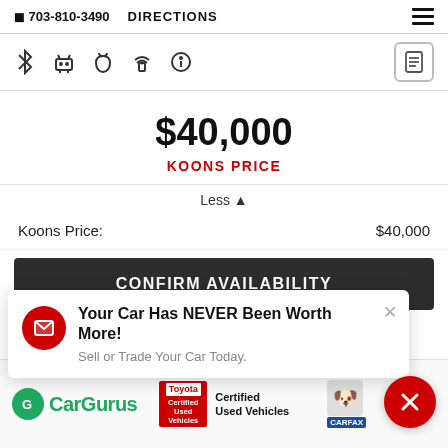703-810-3490   DIRECTIONS
[Figure (screenshot): Row of connectivity icons: Bluetooth, Android, Apple, WiFi/hotspot, info button, and a document/clipboard icon on the right]
$40,000
KOONS PRICE
Less ▲
Koons Price:   $40,000
CONFIRM AVAILABILITY
Your Car Has NEVER Been Worth More!
Sell or Trade Your Car Today.
[Figure (logo): CarGurus green logo]
[Figure (logo): Toyota Certified Used Vehicles badge and CARFAX logo with dog mascot]